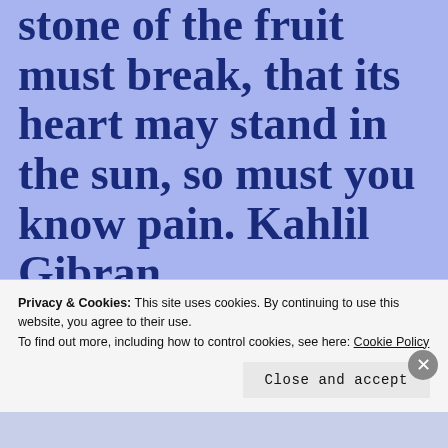stone of the fruit must break, that its heart may stand in the sun, so must you know pain. Kahlil Gibran.
So be willing to open the shell, to grow and see a different ending.  Be willing to forgive and be forgiven.
Privacy & Cookies: This site uses cookies. By continuing to use this website, you agree to their use.
To find out more, including how to control cookies, see here: Cookie Policy
Close and accept